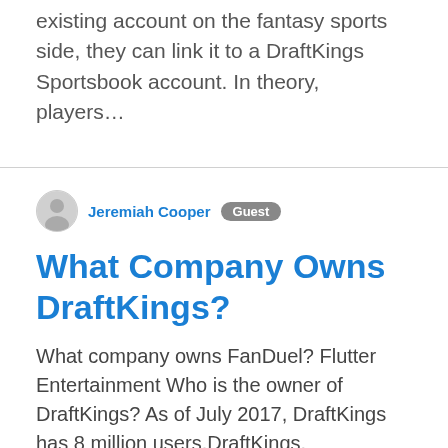existing account on the fantasy sports side, they can link it to a DraftKings Sportsbook account. In theory, players...
Jeremiah Cooper  Guest
What Company Owns DraftKings?
What company owns FanDuel? Flutter Entertainment Who is the owner of DraftKings? As of July 2017, DraftKings has 8 million users.DraftKings. TypePrivateFoundedBoston, Massachusetts, United States (2012)FoundersJason Robins Matt Kalish Paul LibermanHeadquarters125 Summer Street Boston, MA 02110Key peopleJason Robins, CEO4 more rows Are FanDuel and DraftKings the same company? DraftKings